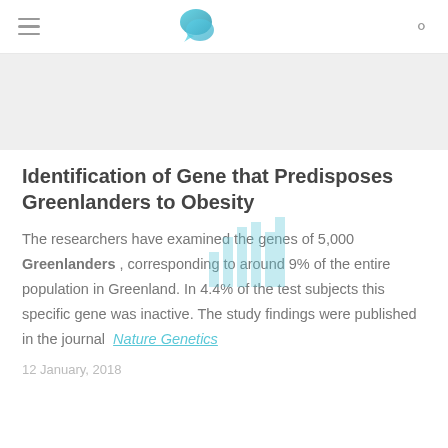Navigation bar with hamburger menu, logo, and search icon
[Figure (illustration): Gray banner placeholder area]
Identification of Gene that Predisposes Greenlanders to Obesity
The researchers have examined the genes of 5,000 Greenlanders , corresponding to around 9% of the entire population in Greenland. In 4.4% of the test subjects this specific gene was inactive. The study findings were published in the journal Nature Genetics
12 January, 2018